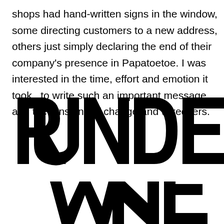shops had hand-written signs in the window, some directing customers to a new address, others just simply declaring the end of their company's presence in Papatoetoe. I was interested in the time, effort and emotion it took  to write such an important message, and the tensions of change and takeovers.
[Figure (illustration): Large hand-drawn bold lettering reading 'UNDER NEW' in black on white background, with 'UNDER' displayed fully and 'NEW' partially visible at the bottom]